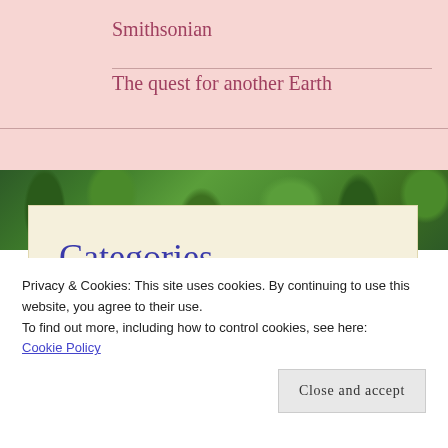Smithsonian
The quest for another Earth
Categories
Select Category
Privacy & Cookies: This site uses cookies. By continuing to use this website, you agree to their use.
To find out more, including how to control cookies, see here: Cookie Policy
Close and accept